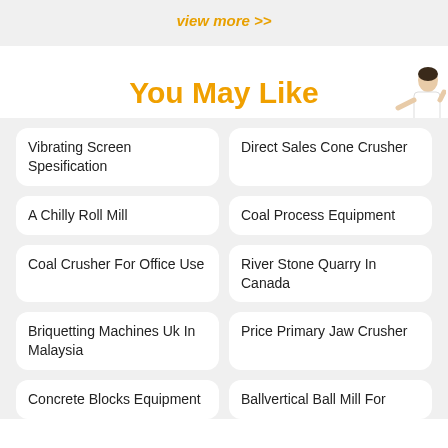view more >>
You May Like
Vibrating Screen Spesification
Direct Sales Cone Crusher
A Chilly Roll Mill
Coal Process Equipment
Coal Crusher For Office Use
River Stone Quarry In Canada
Briquetting Machines Uk In Malaysia
Price Primary Jaw Crusher
Concrete Blocks Equipment
Ballvertical Ball Mill For